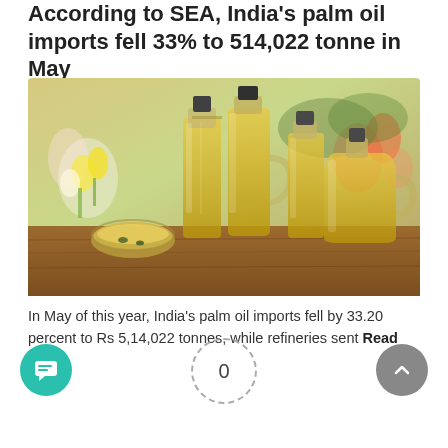According to SEA, India's palm oil imports fell 33% to 514,022 tonne in May
[Figure (photo): Photograph of multiple glass bottles and a small bowl filled with golden cooking oil (palm oil), arranged on a wooden surface with colorful flowers and plants in the background.]
In May of this year, India's palm oil imports fell by 33.20 percent to Rs 5,14,022 tonnes, while refineries sent
Read more